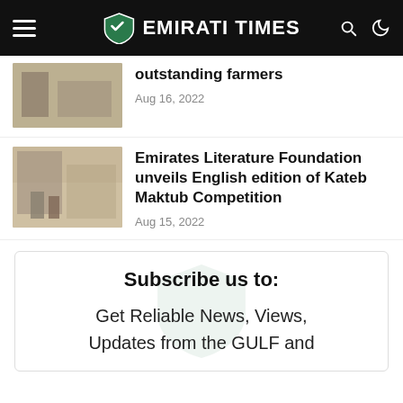EMIRATI TIMES
outstanding farmers
Aug 16, 2022
Emirates Literature Foundation unveils English edition of Kateb Maktub Competition
Aug 15, 2022
Subscribe us to:
Get Reliable News, Views, Updates from the GULF and